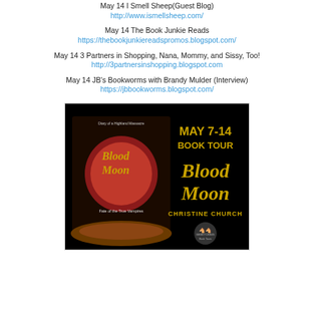May 14 I Smell Sheep(Guest Blog)
http://www.ismellsheep.com/
May 14 The Book Junkie Reads
https://thebookjunkiereadspromos.blogspot.com/
May 14 3 Partners in Shopping, Nana, Mommy, and Sissy, Too!
http://3partnersinshopping.blogspot.com
May 14 JB's Bookworms with Brandy Mulder (Interview)
https://jbbookworms.blogspot.com/
[Figure (photo): Book tour promotional banner for Blood Moon by Christine Church. Shows book cover on left (Diary of a Highland Massacre, Blood Moon, Fate of the True Vampires, Christine Church) and text on right: MAY 7-14 BOOK TOUR Blood Moon CHRISTINE CHURCH with Bewitching Book Tours logo.]